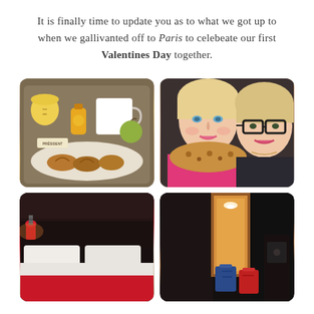It is finally time to update you as to what we got up to when we gallivanted off to Paris to celebeate our first Valentines Day together.
[Figure (photo): A breakfast tray with croissants, bread rolls, a mug, an apple, a small juice bottle, and a butter/yogurt cup]
[Figure (photo): Two smiling women taking a selfie; one blonde with blue eyes, one blonde with black-framed glasses; one wears a leopard-print scarf]
[Figure (photo): Hotel room with a red-accented bed with white pillows and a red bedspread, dark walls, and a small lamp glowing red]
[Figure (photo): Hotel room hallway/entrance area with dark walls, a warm-lit doorway, luggage (blue and red suitcases) on the floor]